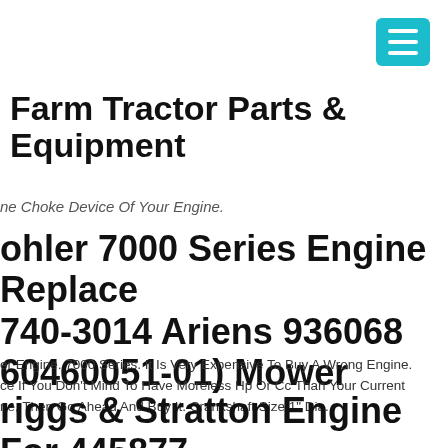[Figure (other): Teal/cyan hamburger menu button icon in top right corner]
Farm Tractor Parts & Equipment
ne Choke Device Of Your Engine.
ohler 7000 Series Engine Replace 740-3014 Ariens 936068 60460051-01) Mower
er Engine. 7000 Series. It Is Very Expensive To Buy A Wrong Engine. ce If You Don't Mind To Have Moreless Hp Or Cc Than Your Current ne, Then Go Ahead And Buy It. Crankshaft Size 1" Dia.
riggs & Stratton Engine For 445877 69-e1 On Poulan Pro Pbgt26h54 ower